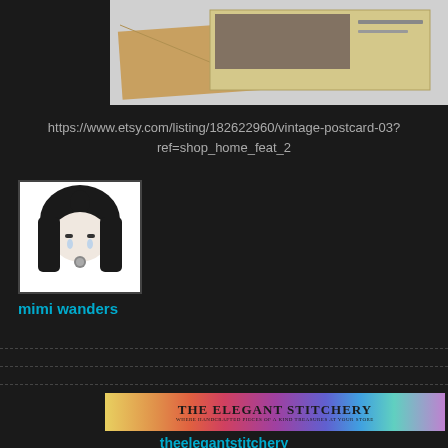[Figure (photo): Product photo of a vintage postcard with a kraft paper envelope on a white surface]
https://www.etsy.com/listing/182622960/vintage-postcard-03?ref=shop_home_feat_2
[Figure (illustration): Avatar image of a cartoon character with long black hair on white background]
mimi wanders
[Figure (illustration): Banner image for The Elegant Stitchery with colorful rainbow gradient background and decorative serif text]
theelegantstitchery